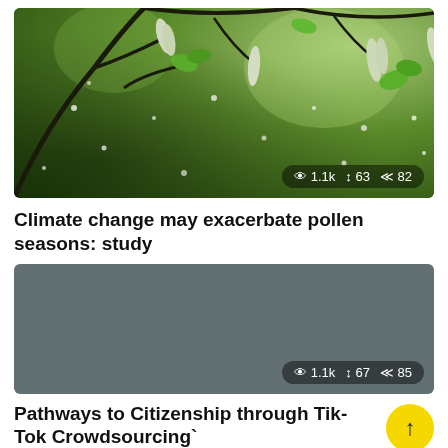[Figure (photo): Close-up photo of tree branches with fluffy white pollen/catkins against a blurred green bokeh background, with small white pollen particles floating in the air. Stats overlay shows: eye icon 1.1k, repost icon 63, share icon 82.]
Climate change may exacerbate pollen seasons: study
[Figure (photo): Solid gray/slate colored rectangular image placeholder. Stats overlay shows: eye icon 1.1k, repost icon 67, share icon 85.]
Pathways to Citizenship through Tik-Tok Crowdsourcing`